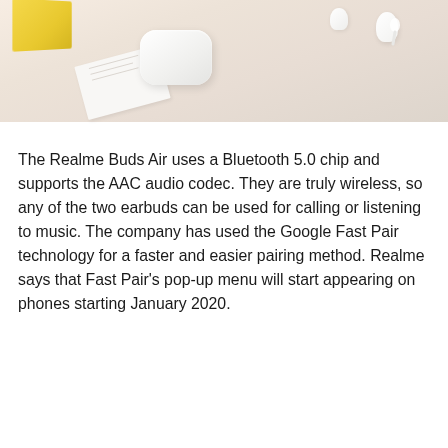[Figure (photo): Overhead/flat-lay photo of Realme Buds Air earbuds product on a light beige desk surface. Shows the white charging case, two white earbuds, a white card/manual, and a yellow product box in the upper left corner.]
The Realme Buds Air uses a Bluetooth 5.0 chip and supports the AAC audio codec. They are truly wireless, so any of the two earbuds can be used for calling or listening to music. The company has used the Google Fast Pair technology for a faster and easier pairing method. Realme says that Fast Pair's pop-up menu will start appearing on phones starting January 2020.